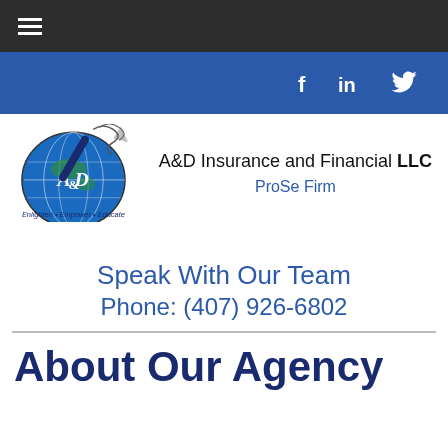[Figure (logo): Navigation bar with hamburger menu icon on dark background]
[Figure (logo): Blue social media bar with Facebook, LinkedIn, and Twitter icons]
[Figure (logo): A&D Insurance and Financial LLC logo with globe and pen graphic, tagline: Enlighten • Empower • Educate]
A&D Insurance and Financial LLC
ProSe Firm
Speak With Our Team
Phone: (407) 926-6802
About Our Agency